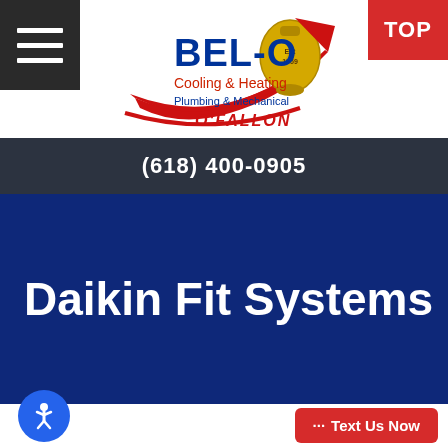[Figure (logo): BEL-O Cooling & Heating Plumbing & Mechanical O'Fallon logo with bell graphic and red swoosh]
(618) 400-0905
Daikin Fit Systems
[Figure (infographic): Accessibility icon button (wheelchair figure on blue circle)]
··· Text Us Now